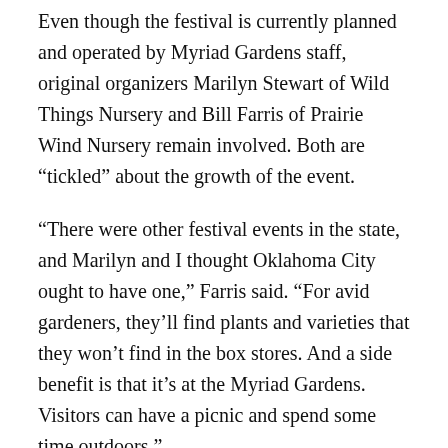Even though the festival is currently planned and operated by Myriad Gardens staff, original organizers Marilyn Stewart of Wild Things Nursery and Bill Farris of Prairie Wind Nursery remain involved. Both are “tickled” about the growth of the event.
“There were other festival events in the state, and Marilyn and I thought Oklahoma City ought to have one,” Farris said. “For avid gardeners, they’ll find plants and varieties that they won’t find in the box stores. And a side benefit is that it’s at the Myriad Gardens. Visitors can have a picnic and spend some time outdoors.”
Myriad Gardens Executive Director Maureen Heffernan agrees.
“When Bill and Marilyn approached Myriad Gardens…